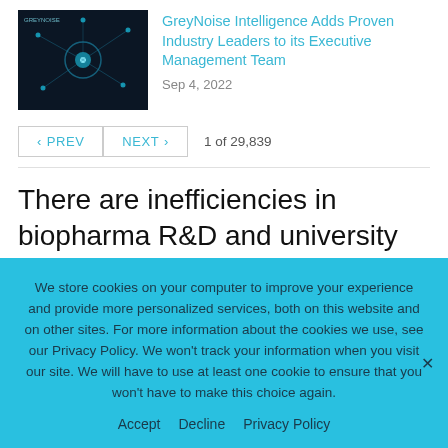[Figure (photo): Dark blue/black thumbnail image with network/tech graphic and GreyNoise logo text]
GreyNoise Intelligence Adds Proven Industry Leaders to its Executive Management Team
Sep 4, 2022
< PREV
NEXT >
1 of 29,839
There are inefficiencies in biopharma R&D and university tech transfer that new Web3 marketplace tools will address. Molecule has pioneered a new type of liquid asset class, the
We store cookies on your computer to improve your experience and provide more personalized services, both on this website and on other sites. For more information about the cookies we use, see our Privacy Policy. We won't track your information when you visit our site. We will have to use at least one cookie to ensure that you won't have to make this choice again.
Accept   Decline   Privacy Policy